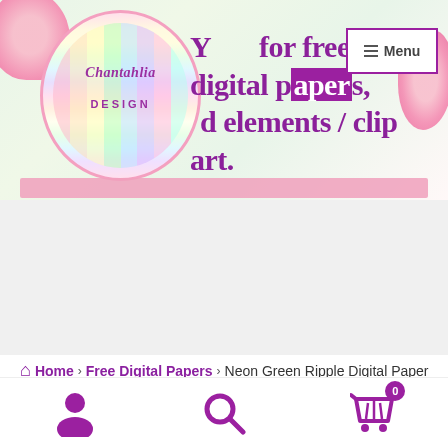[Figure (screenshot): Chantahlia Design website header banner with logo circle showing pastel watercolor stripes, decorative pink flowers, site tagline 'Your source for free digital papers, and elements / clip art.' in purple text, and a Menu button with hamburger icon]
Home › Free Digital Papers › Neon Green Ripple Digital Paper
[Figure (other): Bottom navigation bar with purple person icon, purple search/magnifying glass icon, and purple shopping cart icon with badge showing 0]